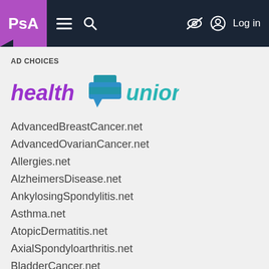PsA navigation bar with logo, menu, search, and Log in
AD CHOICES
[Figure (logo): Health Union logo with purple 'health', teal/blue speech bubble icon, and teal 'union' text]
AdvancedBreastCancer.net
AdvancedOvarianCancer.net
Allergies.net
AlzheimersDisease.net
AnkylosingSpondylitis.net
Asthma.net
AtopicDermatitis.net
AxialSpondyloarthritis.net
BladderCancer.net